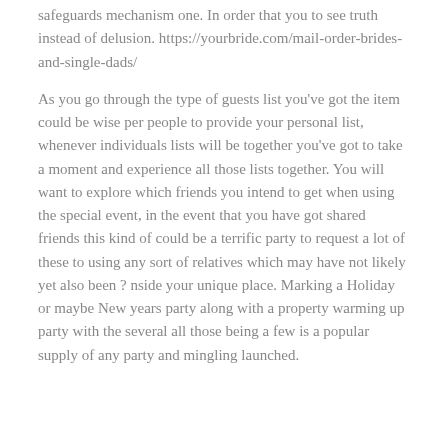safeguards mechanism one. In order that you to see truth instead of delusion. https://yourbride.com/mail-order-brides-and-single-dads/
As you go through the type of guests list you've got the item could be wise per people to provide your personal list, whenever individuals lists will be together you've got to take a moment and experience all those lists together. You will want to explore which friends you intend to get when using the special event, in the event that you have got shared friends this kind of could be a terrific party to request a lot of these to using any sort of relatives which may have not likely yet also been ? nside your unique place. Marking a Holiday or maybe New years party along with a property warming up party with the several all those being a few is a popular supply of any party and mingling launched.